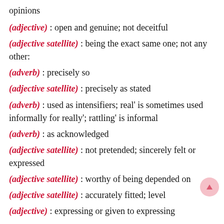opinions
(adjective) : open and genuine; not deceitful
(adjective satellite) : being the exact same one; not any other:
(adverb) : precisely so
(adjective satellite) : precisely as stated
(adverb) : used as intensifiers; real' is sometimes used informally for really'; rattling' is informal
(adverb) : as acknowledged
(adjective satellite) : not pretended; sincerely felt or expressed
(adjective satellite) : worthy of being depended on
(adjective satellite) : accurately fitted; level
(adjective) : expressing or given to expressing